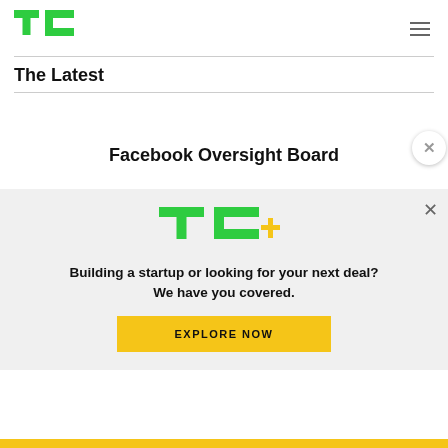[Figure (logo): TechCrunch TC green logo in top left header]
The Latest
Facebook Oversight Board
[Figure (logo): TC+ logo (green TC with yellow plus sign)]
Building a startup or looking for your next deal? We have you covered.
EXPLORE NOW